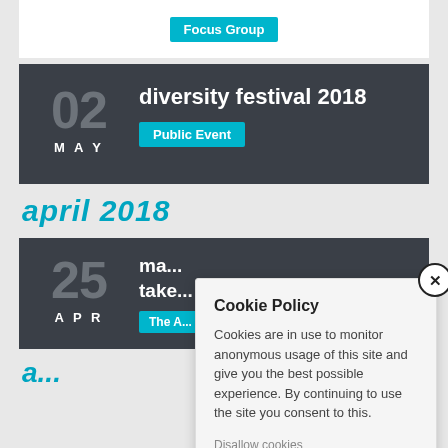Focus Group
diversity festival 2018
Public Event
april 2018
ma... take...
APR 25
The A...
Cookie Policy
Cookies are in use to monitor anonymous usage of this site and give you the best possible experience. By continuing to use the site you consent to this.
Disallow cookies